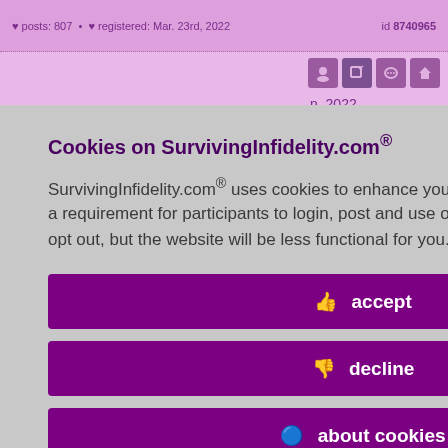posts: 807  •  registered: Mar. 23rd, 2022   id 8740965
n, 2022
n
sex outside
you see
s about your
Cookies on SurvivingInfidelity.com®
SurvivingInfidelity.com® uses cookies to enhance your visit to our website. This is a requirement for participants to login, post and use other features. Visitors may opt out, but the website will be less functional for you.
accept
decline
about cookies
Policy